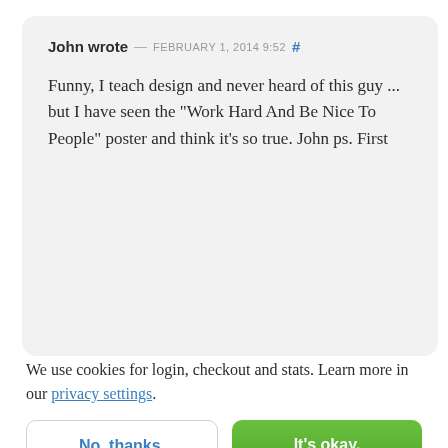John wrote — FEBRUARY 1, 2014 9:52 #
Funny, I teach design and never heard of this guy ... but I have seen the "Work Hard And Be Nice To People" poster and think it's so true. John ps. First
We use cookies for login, checkout and stats. Learn more in our privacy settings.
No, thanks.
It's okay.